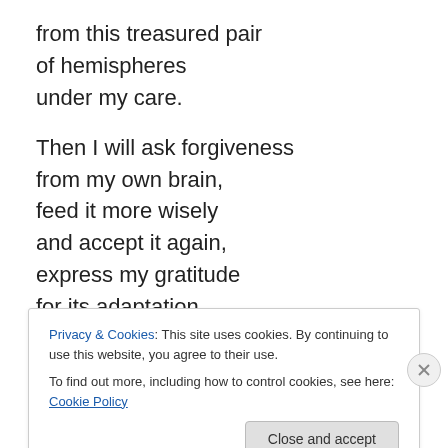from this treasured pair
of hemispheres
under my care.

Then I will ask forgiveness
from my own brain,
feed it more wisely
and accept it again,
express my gratitude
for its adaptation
to reestablish self-regulation
Privacy & Cookies: This site uses cookies. By continuing to use this website, you agree to their use.
To find out more, including how to control cookies, see here: Cookie Policy
Close and accept